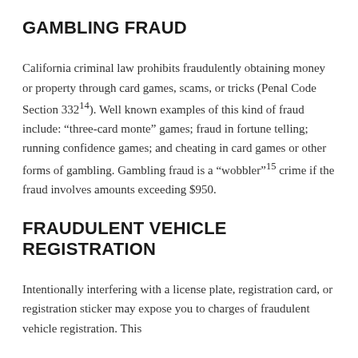GAMBLING FRAUD
California criminal law prohibits fraudulently obtaining money or property through card games, scams, or tricks (Penal Code Section 332¹⁴). Well known examples of this kind of fraud include: “three-card monte” games; fraud in fortune telling; running confidence games; and cheating in card games or other forms of gambling. Gambling fraud is a “wobbler”¹⁵ crime if the fraud involves amounts exceeding $950.
FRAUDULENT VEHICLE REGISTRATION
Intentionally interfering with a license plate, registration card, or registration sticker may expose you to charges of fraudulent vehicle registration. This